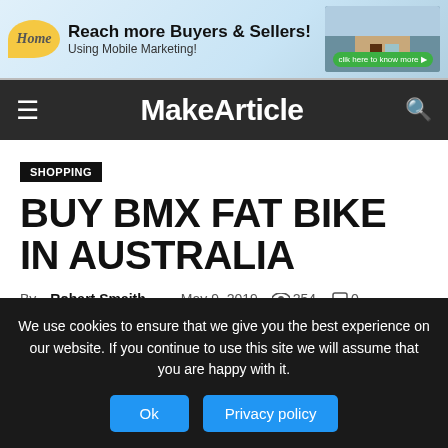[Figure (infographic): Banner advertisement: Home bubble logo on left, text 'Reach more Buyers & Sellers! Using Mobile Marketing!' in center, house image with green CTA button 'clik here to know more' on right]
MakeArticle
SHOPPING
BUY BMX FAT BIKE IN AUSTRALIA
By Robart Smaith - May 9, 2019   254   0
We use cookies to ensure that we give you the best experience on our website. If you continue to use this site we will assume that you are happy with it.